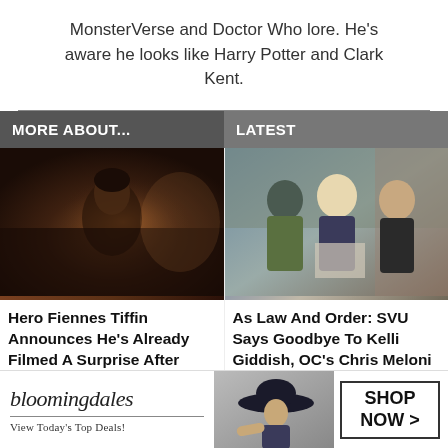MonsterVerse and Doctor Who lore. He's aware he looks like Harry Potter and Clark Kent.
MORE ABOUT...
LATEST
[Figure (photo): Dark moody scene with a young man in a dimly lit room]
[Figure (photo): Three people standing in what appears to be a TV show scene - Law and Order SVU cast]
Hero Fiennes Tiffin Announces He's Already Filmed A Surprise After Sequel
As Law And Order: SVU Says Goodbye To Kelli Giddish, OC's Chris Meloni Reveals BTS
[Figure (other): Bloomingdales advertisement - View Today's Top Deals! SHOP NOW >]